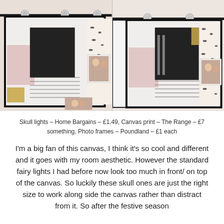[Figure (photo): Two side-by-side photographs showing decorative canvas prints hung with skull fairy lights. The canvases feature black, pink, and gold abstract art with leopard print borders and small photo frames clipped to them.]
Skull lights – Home Bargains – £1.49, Canvas print – The Range – £7 something, Photo frames – Poundland – £1 each
I'm a big fan of this canvas, I think it's so cool and different and it goes with my room aesthetic. However the standard fairy lights I had before now look too much in front/ on top of the canvas. So luckily these skull ones are just the right size to work along side the canvas rather than distract from it. So after the festive season